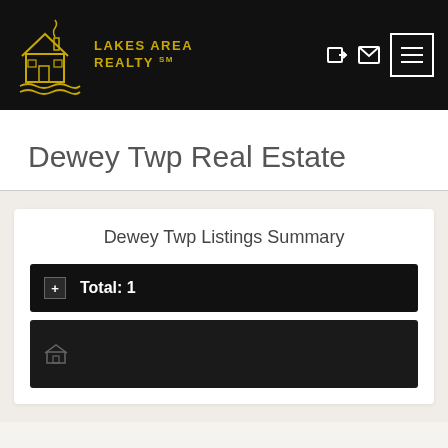Lakes Area Realty
Dewey Twp Real Estate
Dewey Twp Listings Summary
Total: 1